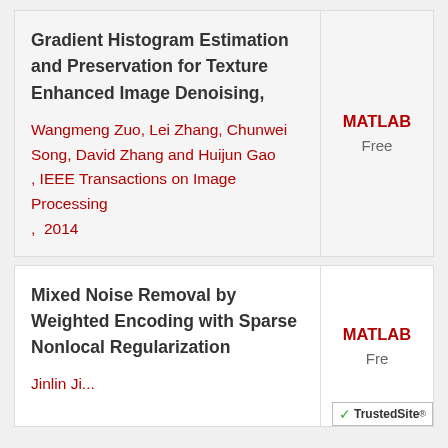Gradient Histogram Estimation and Preservation for Texture Enhanced Image Denoising,
Wangmeng Zuo, Lei Zhang, Chunwei Song, David Zhang and Huijun Gao , IEEE Transactions on Image Processing ,  2014
MATLAB
Free
Mixed Noise Removal by Weighted Encoding with Sparse Nonlocal Regularization
MATLAB
Fre...